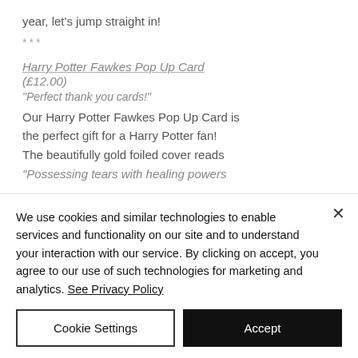year, let's jump straight in!
***
Harry Potter Fawkes Pop Up Card (£12.00)
"Perfect thank you cards!"
Our Harry Potter Fawkes Pop Up Card is the perfect gift for a Harry Potter fan! The beautifully gold foiled cover reads
"Possessing tears with healing powers
We use cookies and similar technologies to enable services and functionality on our site and to understand your interaction with our service. By clicking on accept, you agree to our use of such technologies for marketing and analytics. See Privacy Policy
Cookie Settings
Accept